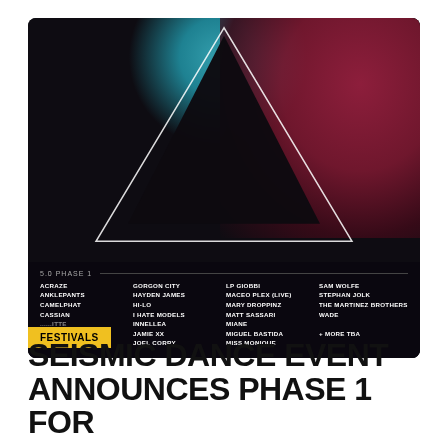[Figure (illustration): Seismic Dance Event festival poster with dark background, teal and maroon color blobs, a white outline triangle overlapping a dark filled triangle. Bottom section lists Phase 1 lineup artists in four columns on dark background.]
FESTIVALS
SEISMIC DANCE EVENT ANNOUNCES PHASE 1 FOR